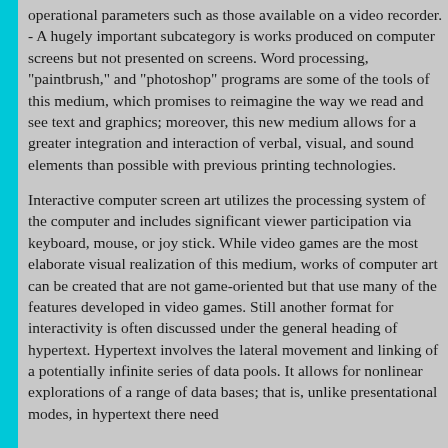operational parameters such as those available on a video recorder. - A hugely important subcategory is works produced on computer screens but not presented on screens. Word processing, "paintbrush," and "photoshop" programs are some of the tools of this medium, which promises to reimagine the way we read and see text and graphics; moreover, this new medium allows for a greater integration and interaction of verbal, visual, and sound elements than possible with previous printing technologies.
Interactive computer screen art utilizes the processing system of the computer and includes significant viewer participation via keyboard, mouse, or joy stick. While video games are the most elaborate visual realization of this medium, works of computer art can be created that are not game-oriented but that use many of the features developed in video games. Still another format for interactivity is often discussed under the general heading of hypertext. Hypertext involves the lateral movement and linking of a potentially infinite series of data pools. It allows for nonlinear explorations of a range of data bases; that is, unlike presentational modes, in hypertext there need